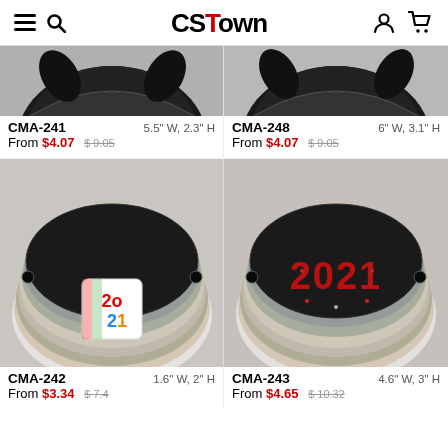CSTown navigation header with hamburger menu, search, logo, user and cart icons
[Figure (photo): Product photo of CMA-241 face mask top portion, partially cropped]
CMA-241
From $4.07
5.5" W, 2.3" H
$9.05
[Figure (photo): Product photo of CMA-248 face mask top portion, partially cropped]
CMA-248
From $4.07
6" W, 3.1" H
$9.05
[Figure (photo): CMA-242 face mask with colorful 2021 patch, multiple color layers fanned out]
CMA-242
From $3.34
1.6" W, 2" H
$7.4
[Figure (photo): CMA-243 face mask with rhinestone 2021 decoration, multiple color layers fanned out]
CMA-243
From $4.65
4.6" W, 3" H
$10.32